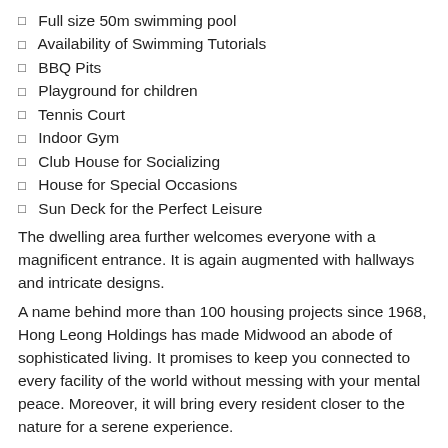Full size 50m swimming pool
Availability of Swimming Tutorials
BBQ Pits
Playground for children
Tennis Court
Indoor Gym
Club House for Socializing
House for Special Occasions
Sun Deck for the Perfect Leisure
The dwelling area further welcomes everyone with a magnificent entrance. It is again augmented with hallways and intricate designs.
A name behind more than 100 housing projects since 1968, Hong Leong Holdings has made Midwood an abode of sophisticated living. It promises to keep you connected to every facility of the world without messing with your mental peace. Moreover, it will bring every resident closer to the nature for a serene experience.